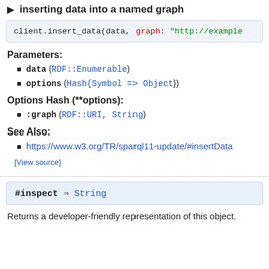inserting data into a named graph
[Figure (screenshot): Code block showing: client.insert_data(data, graph: "http://example]
Parameters:
data (RDF::Enumerable)
options (Hash{Symbol => Object})
Options Hash (**options):
:graph (RDF::URI, String)
See Also:
https://www.w3.org/TR/sparql11-update/#insertData
[View source]
[Figure (screenshot): Code block: #inspect => String]
Returns a developer-friendly representation of this object.